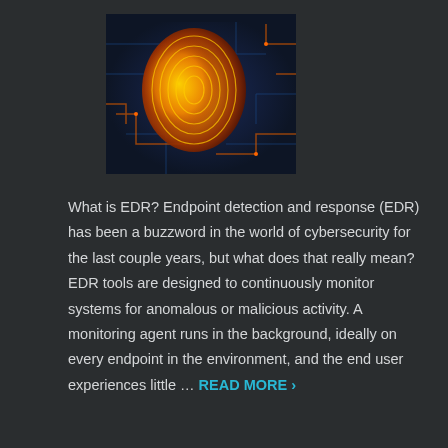[Figure (photo): Close-up of a glowing golden/orange fingerprint on a dark blue circuit board background with orange circuit traces, depicting cybersecurity concept]
What is EDR? Endpoint detection and response (EDR) has been a buzzword in the world of cybersecurity for the last couple years, but what does that really mean? EDR tools are designed to continuously monitor systems for anomalous or malicious activity. A monitoring agent runs in the background, ideally on every endpoint in the environment, and the end user experiences little … READ MORE >